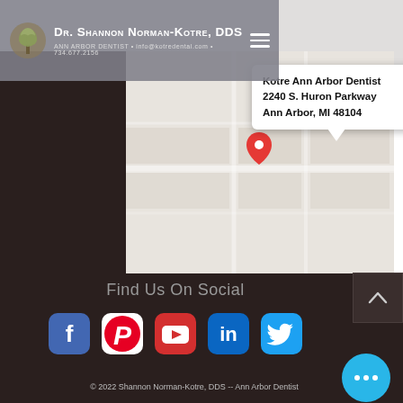Dr. Shannon Norman-Kotre, DDS · ANN ARBOR DENTIST · info@kotredental.com · 734.677.2156
[Figure (screenshot): Google Maps view showing location of Kotre Ann Arbor Dentist with popup: Kotre Ann Arbor Dentist, 2240 S. Huron Parkway, Ann Arbor, MI 48104]
Kotre Ann Arbor Dentist
2240 S. Huron Parkway
Ann Arbor, MI 48104
Find Us On Social
[Figure (logo): Row of social media icons: Facebook, Pinterest, YouTube, LinkedIn, Twitter]
© 2022 Shannon Norman-Kotre, DDS -- Ann Arbor Dentist